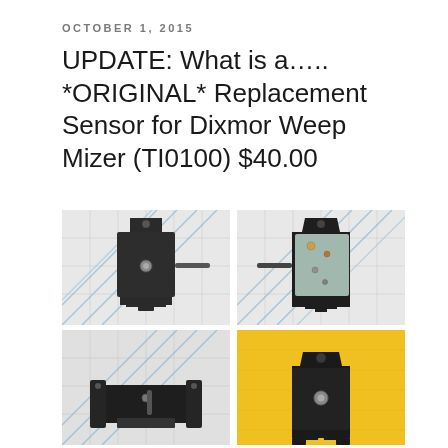OCTOBER 1, 2015
UPDATE: What is a….. *ORIGINAL* Replacement Sensor for Dixmor Weep Mizer (TI0100) $40.00
[Figure (photo): Top-left: front view of black square sensor component with mounting tabs and central screw/pin, on grid background]
[Figure (photo): Top-right: back view of sensor showing translucent/frosted face with solder points visible, on grid background]
[Figure (photo): Bottom-left: side/bottom view of black sensor showing bottom tabs and wire lead, on grid background]
[Figure (photo): Bottom-right: sensor on yellow background showing front face with central screw and mounting tabs]